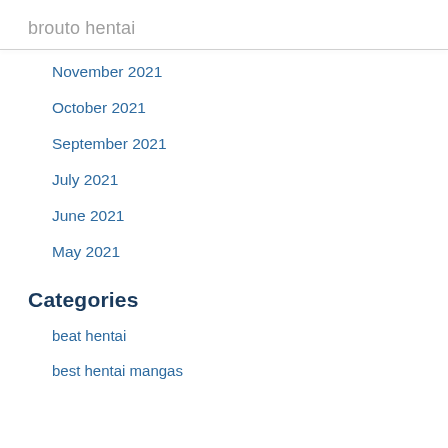brouto hentai
November 2021
October 2021
September 2021
July 2021
June 2021
May 2021
Categories
beat hentai
best hentai mangas